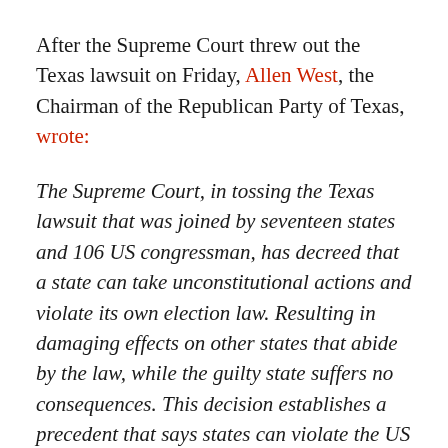After the Supreme Court threw out the Texas lawsuit on Friday, Allen West, the Chairman of the Republican Party of Texas, wrote:
The Supreme Court, in tossing the Texas lawsuit that was joined by seventeen states and 106 US congressman, has decreed that a state can take unconstitutional actions and violate its own election law. Resulting in damaging effects on other states that abide by the law, while the guilty state suffers no consequences. This decision establishes a precedent that says states can violate the US constitution and not be held accountable. This decision will have far-reaching ramifications for the future of our constitutional republic. Perhaps law-abiding states